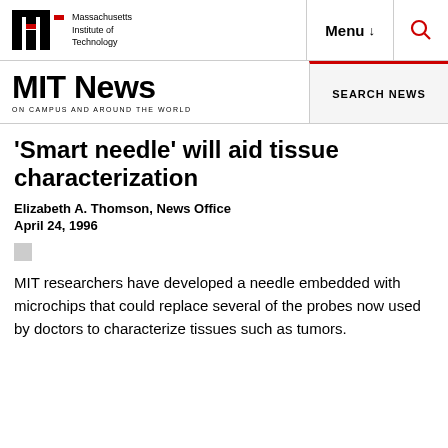Massachusetts Institute of Technology | Menu | Search
MIT News ON CAMPUS AND AROUND THE WORLD | SEARCH NEWS
'Smart needle' will aid tissue characterization
Elizabeth A. Thomson, News Office
April 24, 1996
MIT researchers have developed a needle embedded with microchips that could replace several of the probes now used by doctors to characterize tissues such as tumors.